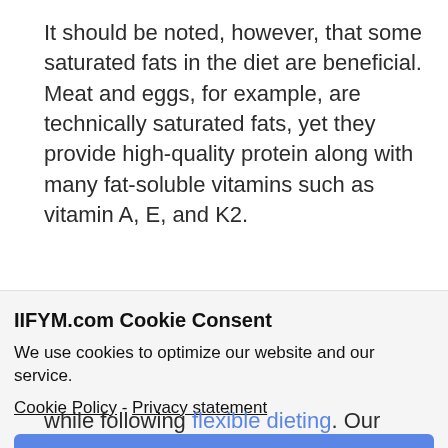It should be noted, however, that some saturated fats in the diet are beneficial. Meat and eggs, for example, are technically saturated fats, yet they provide high-quality protein along with many fat-soluble vitamins such as vitamin A, E, and K2.
IIFYM.com Cookie Consent
We use cookies to optimize our website and our service.
Cookie Policy - Privacy statement
Accept
while following flexible dieting. Our